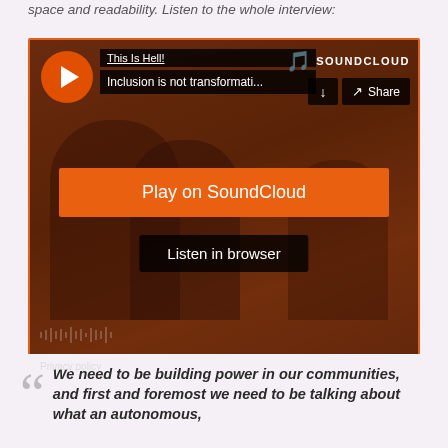space and readability. Listen to the whole interview:
[Figure (screenshot): SoundCloud embedded player showing 'This Is Hell!' podcast episode 'Inclusion is not transformati...' with orange Play on SoundCloud button and Listen in browser button, overlaid on a photo background]
Privacy policy
We need to be building power in our communities, and first and foremost we need to be talking about what an autonomous,